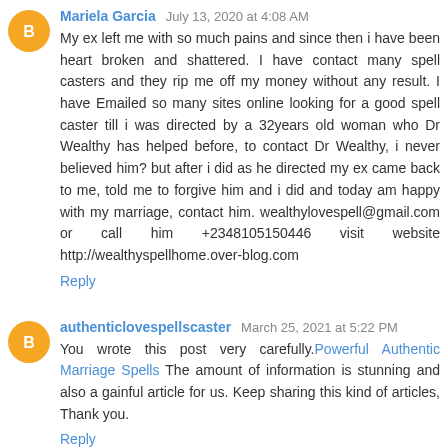Mariela Garcia July 13, 2020 at 4:08 AM
My ex left me with so much pains and since then i have been heart broken and shattered. I have contact many spell casters and they rip me off my money without any result. I have Emailed so many sites online looking for a good spell caster till i was directed by a 32years old woman who Dr Wealthy has helped before, to contact Dr Wealthy, i never believed him? but after i did as he directed my ex came back to me, told me to forgive him and i did and today am happy with my marriage, contact him. wealthylovespell@gmail.com or call him +2348105150446 visit website http://wealthyspellhome.over-blog.com
Reply
authenticlovespellscaster March 25, 2021 at 5:22 PM
You wrote this post very carefully. Powerful Authentic Marriage Spells The amount of information is stunning and also a gainful article for us. Keep sharing this kind of articles, Thank you.
Reply